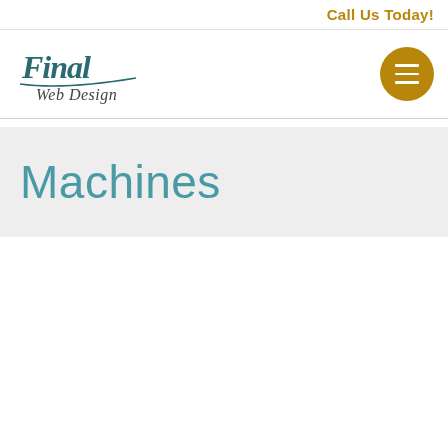Call Us Today!
[Figure (logo): Final Web Design logo in teal/dark cursive script with hamburger menu button in gold/dark yellow circle]
Machines